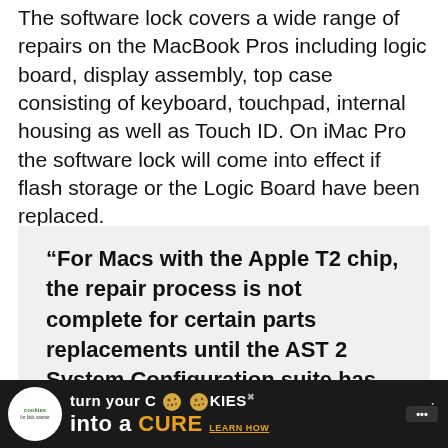The software lock covers a wide range of repairs on the MacBook Pros including logic board, display assembly, top case consisting of keyboard, touchpad, internal housing as well as Touch ID. On iMac Pro the software lock will come into effect if flash storage or the Logic Board have been replaced.
“For Macs with the Apple T2 chip, the repair process is not complete for certain parts replacements until the AST 2 System Configuration suite has been run.
[Figure (other): Advertisement banner for 'cookies for kids cancer' campaign: black background with logo, text 'turn your COOKIES into a CURE LEARN HOW' in white and orange, with a media network logo on the right.]